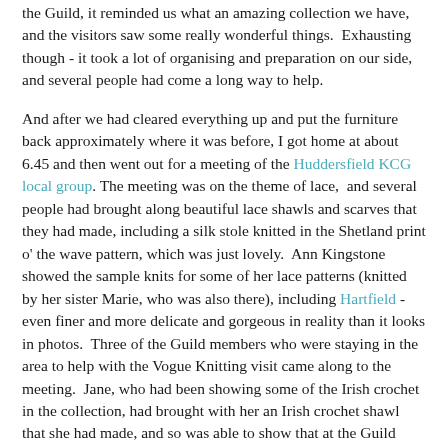the Guild, it reminded us what an amazing collection we have, and the visitors saw some really wonderful things.  Exhausting though - it took a lot of organising and preparation on our side, and several people had come a long way to help.
And after we had cleared everything up and put the furniture back approximately where it was before, I got home at about 6.45 and then went out for a meeting of the Huddersfield KCG local group. The meeting was on the theme of lace,  and several people had brought along beautiful lace shawls and scarves that they had made, including a silk stole knitted in the Shetland print o' the wave pattern, which was just lovely.  Ann Kingstone showed the sample knits for some of her lace patterns (knitted by her sister Marie, who was also there), including Hartfield - even finer and more delicate and gorgeous in reality than it looks in photos.  Three of the Guild members who were staying in the area to help with the Vogue Knitting visit came along to the meeting.  Jane, who had been showing some of the Irish crochet in the collection, had brought with her an Irish crochet shawl that she had made, and so was able to show that at the Guild meeting as well - a beautiful piece of work.  I took along one of the knitted lace samplers from the collection, in amazingly fine cotton.  And also (although it